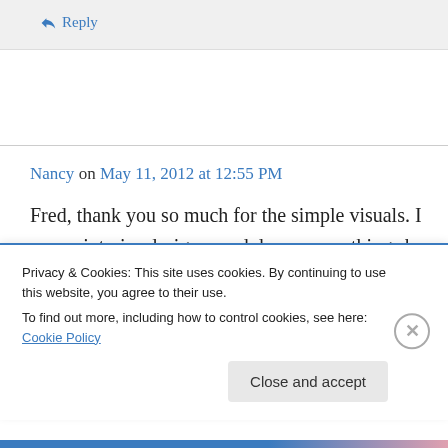↳ Reply
Nancy on May 11, 2012 at 12:55 PM
Fred, thank you so much for the simple visuals. I am an interior designer and do so many things by instinct that I sometimes need someone to tell
Privacy & Cookies: This site uses cookies. By continuing to use this website, you agree to their use.
To find out more, including how to control cookies, see here: Cookie Policy
Close and accept